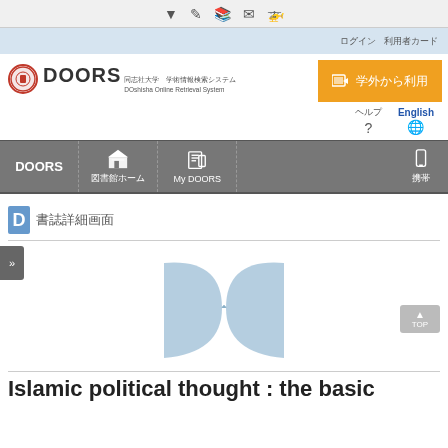▼ ✎ 🏢 ✉ 🚌
ログイン 利用者カード
[Figure (screenshot): DOORS - Doshisha Online Retrieval System logo with circular emblem and Japanese subtitle text]
[Figure (screenshot): Orange button with computer icon and Japanese text for login/access]
[Figure (screenshot): Navigation bar with DOORS label, library icon (図書館), My DOORS icon with document, and mobile icon]
書誌詳細画面
[Figure (illustration): Open book icon in light blue color]
Islamic political thought : the basic